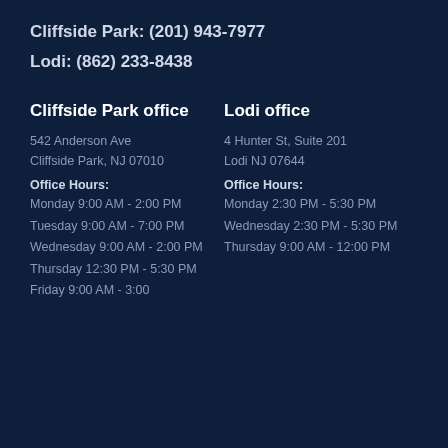Cliffside Park: (201) 943-7977
Lodi: (862) 233-8438
Cliffside Park office
Lodi office
542 Anderson Ave
Cliffside Park, NJ 07010
4 Hunter St, Suite 201
Lodi NJ 07644
Office Hours:
Monday 9:00 AM - 2:00 PM
Tuesday 9:00 AM - 7:00 PM
Wednesday 9:00 AM - 2:00 PM
Thursday 12:30 PM - 5:30 PM
Friday 9:00 AM - 3:00
Office Hours:
Monday 2:30 PM - 5:30 PM
Wednesday 2:30 PM - 5:30 PM
Thursday 9:00 AM - 12:00 PM